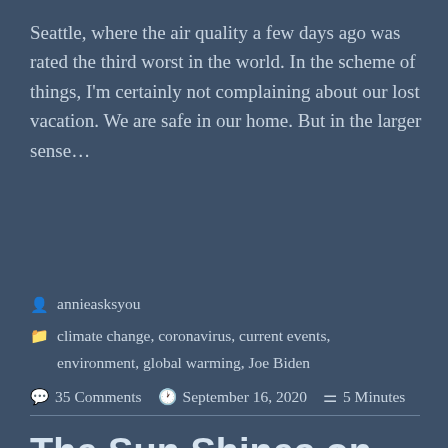Seattle, where the air quality a few days ago was rated the third worst in the world. In the scheme of things, I'm certainly not complaining about our lost vacation. We are safe in our home. But in the larger sense…
annieasksyou
climate change, coronavirus, current events, environment, global warming, Joe Biden
35 Comments   September 16, 2020   5 Minutes
The Sun Shines on the Railways–and Thoughts About My Carbon